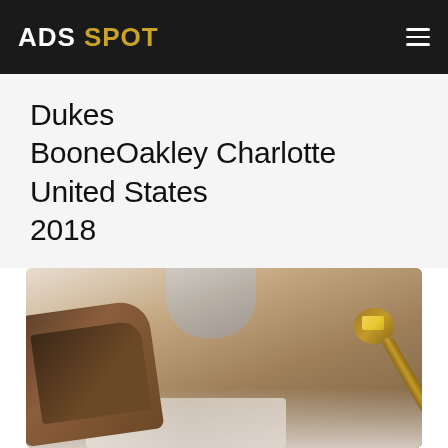ADS SPOT
Dukes BooneOakley Charlotte United States 2018
[Figure (photo): Food photography showing sliced brown bread on the left, a ceramic cup or bowl at the top center, and a wooden spoon with a pat of butter on the right, arranged on a light-colored surface with a cloth underneath.]